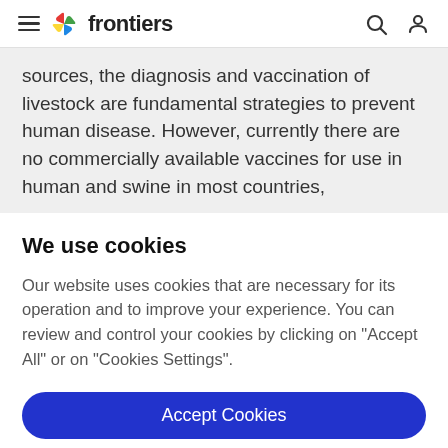frontiers
sources, the diagnosis and vaccination of livestock are fundamental strategies to prevent human disease. However, currently there are no commercially available vaccines for use in human and swine in most countries,
We use cookies
Our website uses cookies that are necessary for its operation and to improve your experience. You can review and control your cookies by clicking on "Accept All" or on "Cookies Settings".
Accept Cookies
Cookies Settings